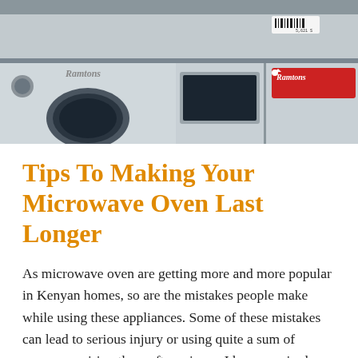[Figure (photo): Photo of Ramtons brand microwave ovens and washing machines stacked in a store display, with red and white Ramtons logo labels visible on the appliances.]
Tips To Making Your Microwave Oven Last Longer
As microwave oven are getting more and more popular in Kenyan homes, so are the mistakes people make while using these appliances. Some of these mistakes can lead to serious injury or using quite a sum of money repairing them after misuse. I have repaired quite a number of microwave ovens and this is the … Continue reading →